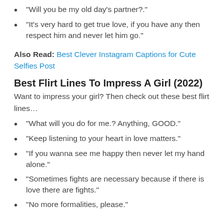"Will you be my old day's partner?."
"It's very hard to get true love, if you have any then respect him and never let him go."
Also Read: Best Clever Instagram Captions for Cute Selfies Post
Best Flirt Lines To Impress A Girl (2022)
Want to impress your girl? Then check out these best flirt lines…
"What will you do for me.? Anything, GOOD."
"Keep listening to your heart in love matters."
"If you wanna see me happy then never let my hand alone."
"Sometimes fights are necessary because if there is love there are fights."
"No more formalities, please."